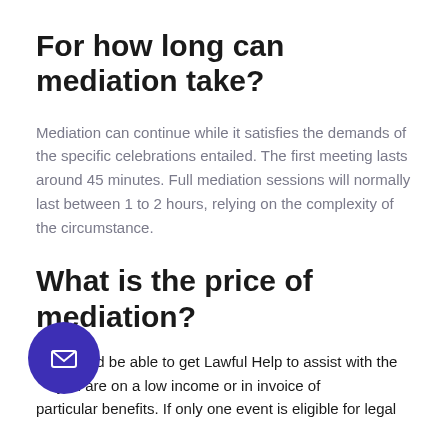For how long can mediation take?
Mediation can continue while it satisfies the demands of the specific celebrations entailed. The first meeting lasts around 45 minutes. Full mediation sessions will normally last between 1 to 2 hours, relying on the complexity of the circumstance.
What is the price of mediation?
d be able to get Lawful Help to assist with the you are on a low income or in invoice of particular benefits. If only one event is eligible for legal